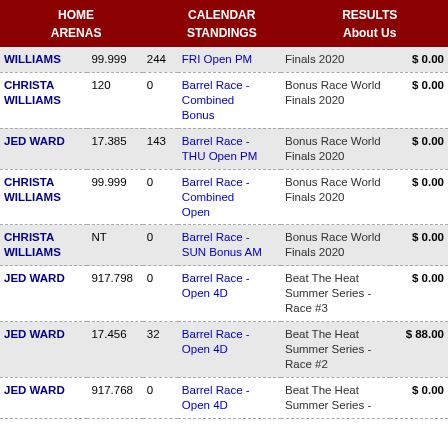HOME  ARENAS  |  CALENDAR  STANDINGS  |  RESULTS  About Us
| Name | Score | Pos | Race | Event | Amount |
| --- | --- | --- | --- | --- | --- |
| WILLIAMS | 99.999 | 244 | FRI Open PM | Finals 2020 | $ 0.00 |
| CHRISTA WILLIAMS | 120 | 0 | Barrel Race - Combined Bonus | Bonus Race World Finals 2020 | $ 0.00 |
| JED WARD | 17.385 | 143 | Barrel Race - THU Open PM | Bonus Race World Finals 2020 | $ 0.00 |
| CHRISTA WILLIAMS | 99.999 | 0 | Barrel Race - Combined Open | Bonus Race World Finals 2020 | $ 0.00 |
| CHRISTA WILLIAMS | NT | 0 | Barrel Race - SUN Bonus AM | Bonus Race World Finals 2020 | $ 0.00 |
| JED WARD | 917.798 | 0 | Barrel Race - Open 4D | Beat The Heat Summer Series - Race #3 | $ 0.00 |
| JED WARD | 17.456 | 32 | Barrel Race - Open 4D | Beat The Heat Summer Series - Race #2 | $ 88.00 |
| JED WARD | 917.768 | 0 | Barrel Race - Open 4D | Beat The Heat Summer Series - | $ 0.00 |